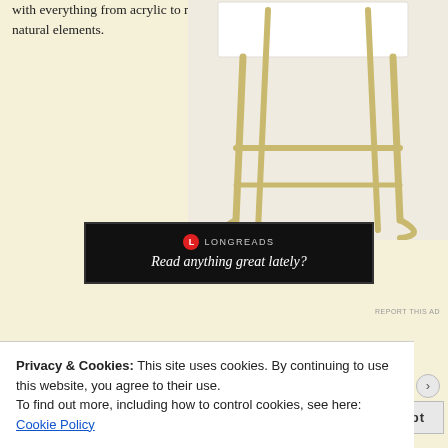with everything from acrylic to more natural elements.
[Figure (photo): A bar stool or chair with a white seat and gold/brass metal frame legs on a light background]
[Figure (other): Longreads advertisement banner: LONGREADS logo with red circle icon, text reading 'Read anything great lately?']
REPORT THIS AD
“My personal favorite is brass and acrylic, mixed together, or wood
Privacy & Cookies: This site uses cookies. By continuing to use this website, you agree to their use.
To find out more, including how to control cookies, see here: Cookie Policy
Close and accept